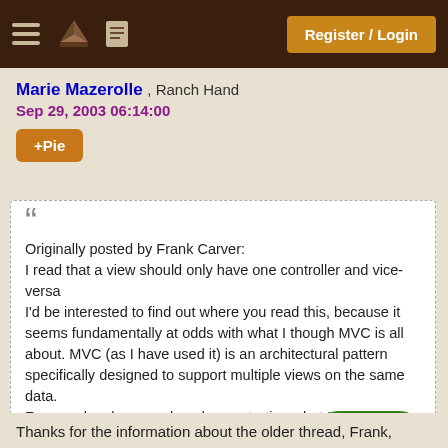Register / Login
Marie Mazerolle , Ranch Hand
Sep 29, 2003 06:14:00
+Pie
Originally posted by Frank Carver:
I read that a view should only have one controller and vice-versa
I'd be interested to find out where you read this, because it seems fundamentally at odds with what I though MVC is all about. MVC (as I have used it) is an architectural pattern specifically designed to support multiple views on the same data.
For a real code examples, demonstrating what I mean, see this older thread.
Thanks for the information about the older thread, Frank,